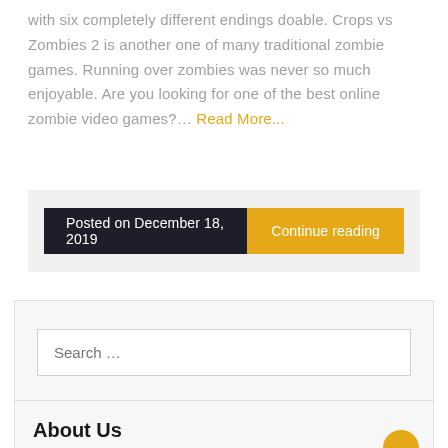with six completely different endings doable. Crops vs Zombies 2 is another one of many traditional zombie games. Running over zombies was never so much enjoyable. Are you looking for one of the best online zombie video games?… Read More...
Posted on December 18, 2019
Continue reading
Search …
About Us